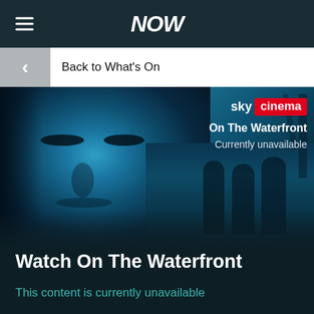NOW
Back to What's On
[Figure (photo): Movie banner for 'On The Waterfront' — blue-toned cinematic image showing a close-up face on the left and a group of men in the background right, with Sky Cinema branding overlay and text 'On The Waterfront / Currently unavailable']
Watch On The Waterfront
This content is currently unavailable